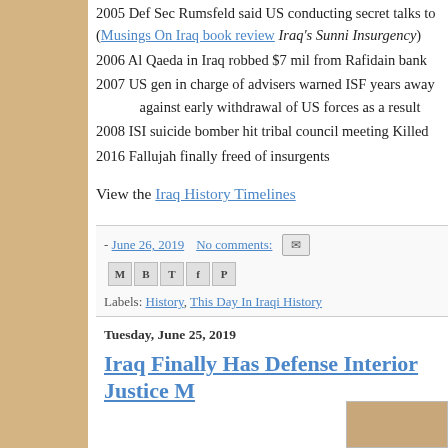2005 Def Sec Rumsfeld said US conducting secret talks to (Musings On Iraq book review Iraq's Sunni Insurgency)
2006 Al Qaeda in Iraq robbed $7 mil from Rafidain bank
2007 US gen in charge of advisers warned ISF years away against early withdrawal of US forces as a result
2008 ISI suicide bomber hit tribal council meeting Killed
2016 Fallujah finally freed of insurgents
View the Iraq History Timelines
- June 26, 2019   No comments:
Labels: History, This Day In Iraqi History
Tuesday, June 25, 2019
Iraq Finally Has Defense Interior Justice M